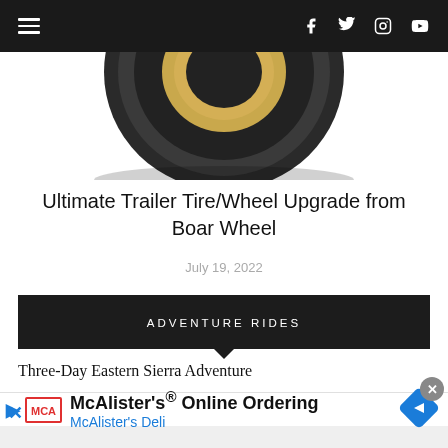Navigation bar with hamburger menu and social icons (Facebook, Twitter, Instagram, YouTube)
[Figure (photo): Partial view of a trailer tire/wheel from above, showing tread and gold wheel rim on white background]
Ultimate Trailer Tire/Wheel Upgrade from Boar Wheel
July 19, 2022
ADVENTURE RIDES
Three-Day Eastern Sierra Adventure
[Figure (screenshot): Infolinks badge and partial blue sky image thumbnail]
[Figure (infographic): McAlister's Online Ordering advertisement with MCA logo, text and blue diamond navigation icon]
McAlister's® Online Ordering
McAlister's Deli